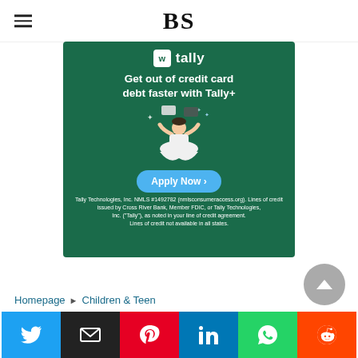BS
[Figure (illustration): Tally+ advertisement: Green background ad showing 'Get out of credit card debt faster with Tally+' with a cartoon person meditating and juggling credit cards, an 'Apply Now' button, and fine print about Tally Technologies NMLS #1492782.]
Homepage ► Children & Teen
[Figure (other): Social sharing bar with Twitter (blue), Email (black), Pinterest (red), LinkedIn (blue), WhatsApp (green), and Reddit (orange) buttons.]